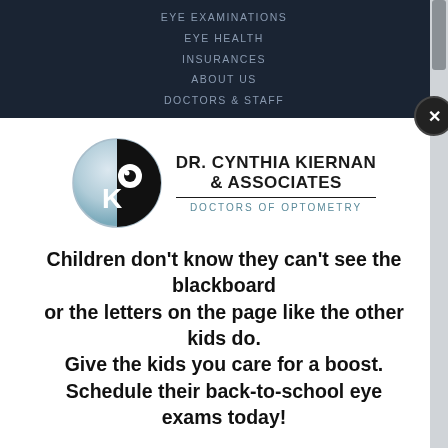EYE EXAMINATIONS
EYE HEALTH
INSURANCES
ABOUT US
DOCTORS & STAFF
[Figure (logo): Dr. Cynthia Kiernan & Associates Doctors of Optometry logo — an eye with OK lettering inside a circle]
Children don't know they can't see the blackboard or the letters on the page like the other kids do. Give the kids you care for a boost. Schedule their back-to-school eye exams today!